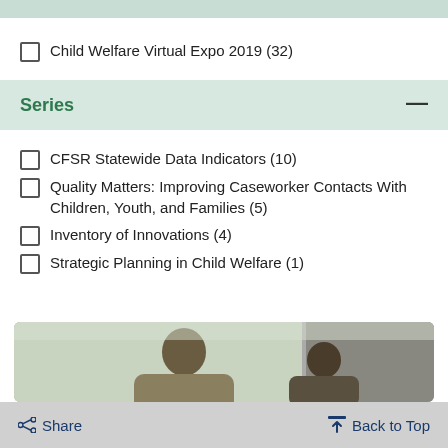Child Welfare Virtual Expo 2019 (32)
Series
CFSR Statewide Data Indicators (10)
Quality Matters: Improving Caseworker Contacts With Children, Youth, and Families (5)
Inventory of Innovations (4)
Strategic Planning in Child Welfare (1)
[Figure (photo): Photo of people working together, visible from shoulders up, with a woman in the foreground with her hair in a bun]
< Share   ↑ Back to Top